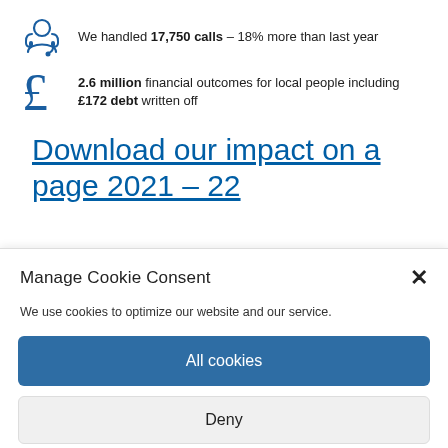We handled 17,750 calls – 18% more than last year
2.6 million financial outcomes for local people including £172 debt written off
Download our impact on a page 2021 – 22
Manage Cookie Consent
We use cookies to optimize our website and our service.
All cookies
Deny